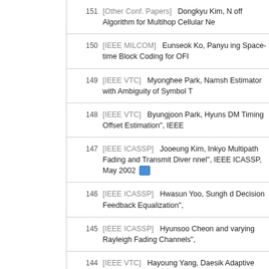151 [Other Conf. Papers] Dongkyu Kim, ... off Algorithm for Multihop Cellular Ne...
150 [IEEE MILCOM] Eunseok Ko, Panyu... ing Space-time Block Coding for OFI...
149 [IEEE VTC] Myonghee Park, Namsh... Estimator with Ambiguity of Symbol T...
148 [IEEE VTC] Byungjoon Park, Hyuns... DM Timing Offset Estimation", IEEE ...
147 [IEEE ICASSP] Jooeung Kim, Inkyo... Multipath Fading and Transmit Diver... nnel", IEEE ICASSP, May 2002
146 [IEEE ICASSP] Hwasun Yoo, Sungh... d Decision Feedback Equalization", ...
145 [IEEE ICASSP] Hyunsoo Cheon and... varying Rayleigh Fading Channels", ...
144 [IEEE VTC] Hayoung Yang, Daesik... Adaptive Space-time Interference Ca...
143 [IEEE VTC] Jooeung Kim, Inkyung K... is of Adaptive Modulation Scheme C...
142 [IEEE VTC] Kyunbyoung Ko, Young... ng, "A Novel IC Scheme Using IC-D...